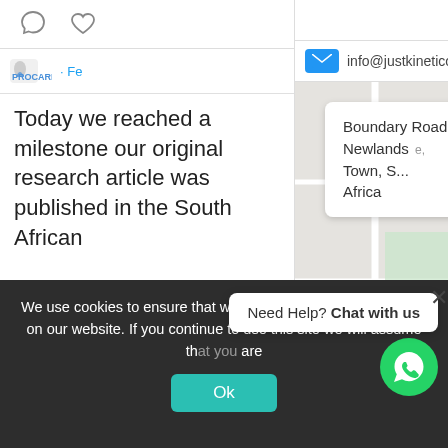[Figure (screenshot): Left column of a webpage showing social media icons (comment bubble, heart), a profile logo with 'Fe' text in blue, and a post text: 'Today we reached a milestone our original research article was published in the South African']
[Figure (screenshot): Middle column showing '4486', an email row with blue envelope icon and 'info@justkinetico', and a Google Maps embed showing Boundary Road, Newlands, Cape Town, South Africa with a red map pin near IIE's college and Claremont label, with zoom controls]
[Figure (screenshot): Right column text: 'to build power training into your athletic programme that will direct power, produce speed and enhance performance: Practice with']
We use cookies to ensure that we give you the best experience on our website. If you continue to use this site we will assume that you are
[Figure (screenshot): WhatsApp chat widget showing 'Need Help? Chat with us' tooltip and green WhatsApp button with phone icon, and X close button]
Ok